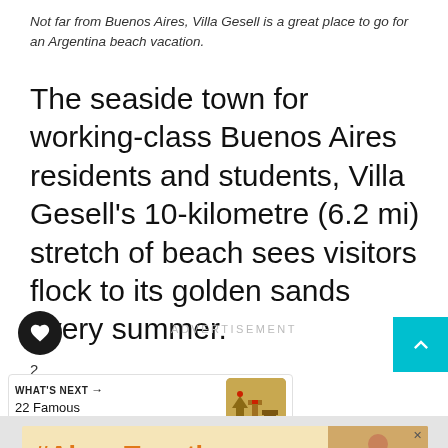Not far from Buenos Aires, Villa Gesell is a great place to go for an Argentina beach vacation.
The seaside town for working-class Buenos Aires residents and students, Villa Gesell's 10-kilometre (6.2 mi) stretch of beach sees visitors flock to its golden sands every summer.
[Figure (infographic): Social sidebar with heart/like button (count: 2) and share button; advertisement label in center; teal scroll-to-top button]
[Figure (infographic): What's Next promo: '22 Famous Landmarks i...' with thumbnail image of landmarks]
[Figure (infographic): Advertisement banner with #AloneTogether text in orange on light yellow background, photo of woman, close button, and Whisk logo]